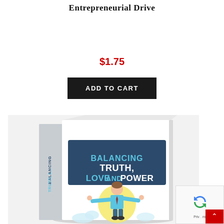Entrepreneurial Drive
$1.75
ADD TO CART
[Figure (photo): Book cover illustration for 'Balancing Truth, Love and Power' showing a 3D book with a dark blue header containing the title text in white and light blue, and a cartoon businessman in a light blue shirt with arms outstretched, set against a white/cream background.]